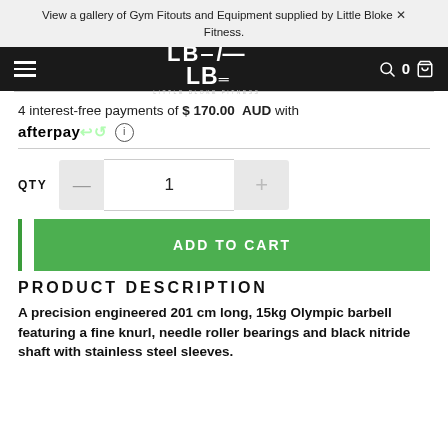View a gallery of Gym Fitouts and Equipment supplied by Little Bloke Fitness.
[Figure (logo): LBF - Little Bloke Fitness logo in white on black navigation bar]
4 interest-free payments of $170.00 AUD with afterpay
QTY 1
ADD TO CART
PRODUCT DESCRIPTION
A precision engineered 201cm long, 15kg Olympic barbell featuring a fine knurl, needle roller bearings and black nitride shaft with stainless steel sleeves.